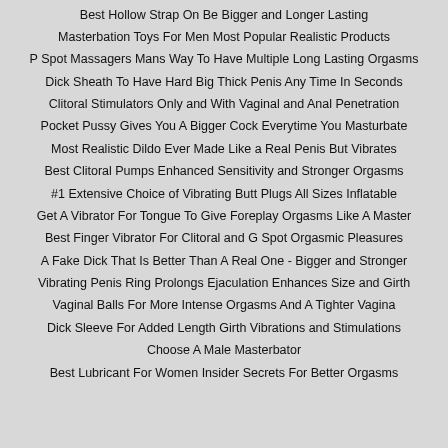Best Hollow Strap On Be Bigger and Longer Lasting
Masterbation Toys For Men Most Popular Realistic Products
P Spot Massagers Mans Way To Have Multiple Long Lasting Orgasms
Dick Sheath To Have Hard Big Thick Penis Any Time In Seconds
Clitoral Stimulators Only and With Vaginal and Anal Penetration
Pocket Pussy Gives You A Bigger Cock Everytime You Masturbate
Most Realistic Dildo Ever Made Like a Real Penis But Vibrates
Best Clitoral Pumps Enhanced Sensitivity and Stronger Orgasms
#1 Extensive Choice of Vibrating Butt Plugs All Sizes Inflatable
Get A Vibrator For Tongue To Give Foreplay Orgasms Like A Master
Best Finger Vibrator For Clitoral and G Spot Orgasmic Pleasures
A Fake Dick That Is Better Than A Real One - Bigger and Stronger
Vibrating Penis Ring Prolongs Ejaculation Enhances Size and Girth
Vaginal Balls For More Intense Orgasms And A Tighter Vagina
Dick Sleeve For Added Length Girth Vibrations and Stimulations
Choose A Male Masterbator
Best Lubricant For Women Insider Secrets For Better Orgasms